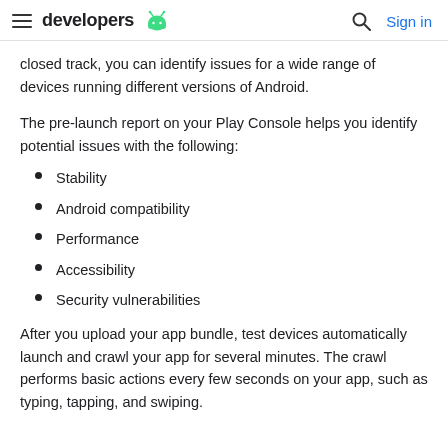developers
closed track, you can identify issues for a wide range of devices running different versions of Android.
The pre-launch report on your Play Console helps you identify potential issues with the following:
Stability
Android compatibility
Performance
Accessibility
Security vulnerabilities
After you upload your app bundle, test devices automatically launch and crawl your app for several minutes. The crawl performs basic actions every few seconds on your app, such as typing, tapping, and swiping.